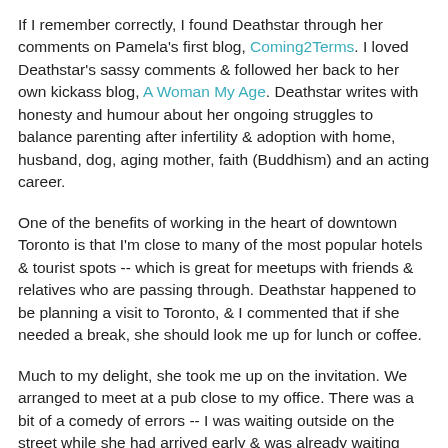If I remember correctly, I found Deathstar through her comments on Pamela's first blog, Coming2Terms. I loved Deathstar's sassy comments & followed her back to her own kickass blog, A Woman My Age. Deathstar writes with honesty and humour about her ongoing struggles to balance parenting after infertility & adoption with home, husband, dog, aging mother, faith (Buddhism) and an acting career.
One of the benefits of working in the heart of downtown Toronto is that I'm close to many of the most popular hotels & tourist spots -- which is great for meetups with friends & relatives who are passing through. Deathstar happened to be planning a visit to Toronto, & I commented that if she needed a break, she should look me up for lunch or coffee.
Much to my delight, she took me up on the invitation. We arranged to meet at a pub close to my office. There was a bit of a comedy of errors -- I was waiting outside on the street while she had arrived early & was already waiting inside, with no cellphone signal. Just as I was asking the waitress on the outside patio if she could check the reservation list to see if my party had already arrived, Deathstar emerged &